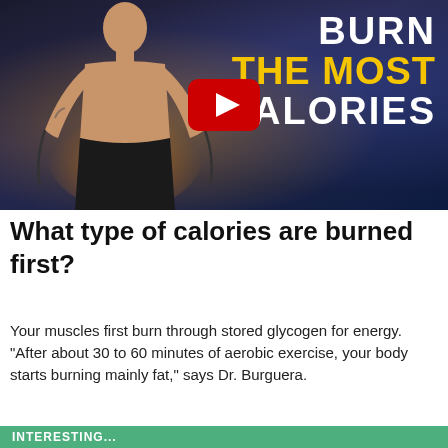[Figure (photo): YouTube video thumbnail showing a shirtless muscular man jumping rope against a dark background with orange glow. Text overlay reads 'BURN THE MOST CALORIES' with a YouTube play button in the center.]
What type of calories are burned first?
Your muscles first burn through stored glycogen for energy. “After about 30 to 60 minutes of aerobic exercise, your body starts burning mainly fat,” says Dr. Burguera.
INTERESTING...